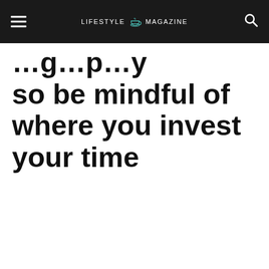LIFESTYLE MAGAZINE
so be mindful of where you invest your time